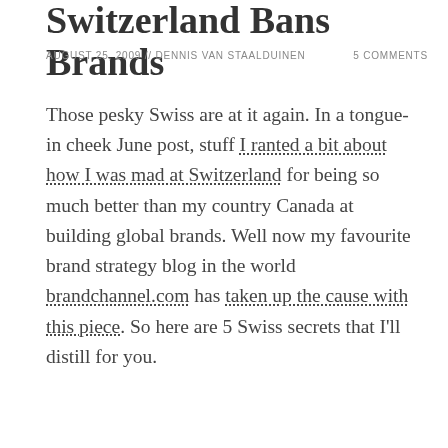Switzerland Bans Brands
AUGUST 25, 2009 // DENNIS VAN STAALDUINEN    5 COMMENTS
Those pesky Swiss are at it again. In a tongue-in cheek June post, stuff I ranted a bit about how I was mad at Switzerland for being so much better than my country Canada at building global brands. Well now my favourite brand strategy blog in the world brandchannel.com has taken up the cause with this piece. So here are 5 Swiss secrets that I'll distill for you.